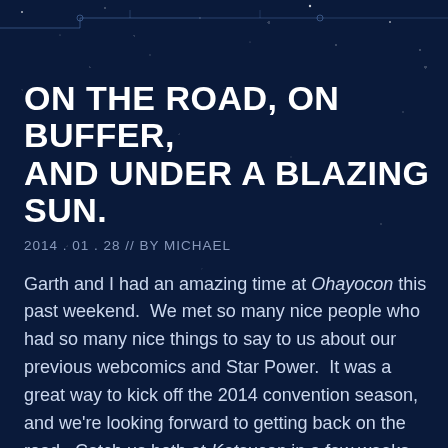[Figure (illustration): Dark navy starfield background with circuit board decorative lines in the upper portion]
ON THE ROAD, ON BUFFER, AND UNDER A BLAZING SUN.
2014 . 01 . 28 // BY MICHAEL
Garth and I had an amazing time at Ohayocon this past weekend.  We met so many nice people who had so many nice things to say to us about our previous webcomics and Star Power.  It was a great way to kick off the 2014 convention season, and we're looking forward to getting back on the road.  Catch us both at Katsucon in a few weeks, and I'll be returning to ConBust in March! Keep an eye on our convention schedule to find out where we'll be throughout the year!